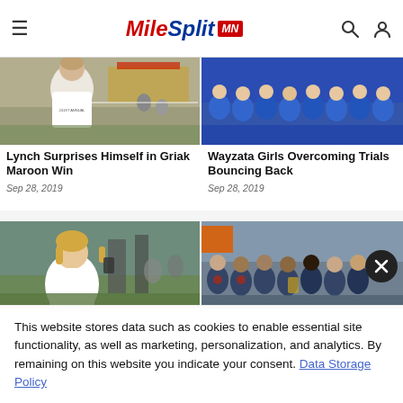MileSplit MN
[Figure (photo): Young male runner in white t-shirt at an outdoor running event with tents and spectators in background]
Lynch Surprises Himself in Griak Maroon Win
Sep 28, 2019
[Figure (photo): Group of girls in blue team uniforms posing together at a cross country meet]
Wayzata Girls Overcoming Trials Bouncing Back
Sep 28, 2019
[Figure (photo): Female runner with blonde hair in white shirt at outdoor event with green field background]
[Figure (photo): Group of male runners in dark team uniforms posing together at an outdoor meet]
This website stores data such as cookies to enable essential site functionality, as well as marketing, personalization, and analytics. By remaining on this website you indicate your consent. Data Storage Policy